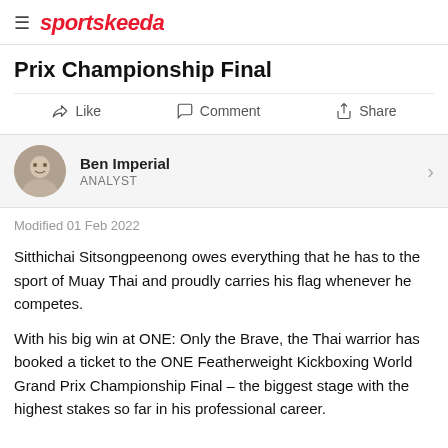sportskeeda
Prix Championship Final
Like   Comment   Share
Ben Imperial
ANALYST
Modified 01 Feb 2022
Sitthichai Sitsongpeenong owes everything that he has to the sport of Muay Thai and proudly carries his flag whenever he competes.
With his big win at ONE: Only the Brave, the Thai warrior has booked a ticket to the ONE Featherweight Kickboxing World Grand Prix Championship Final – the biggest stage with the highest stakes so far in his professional career.